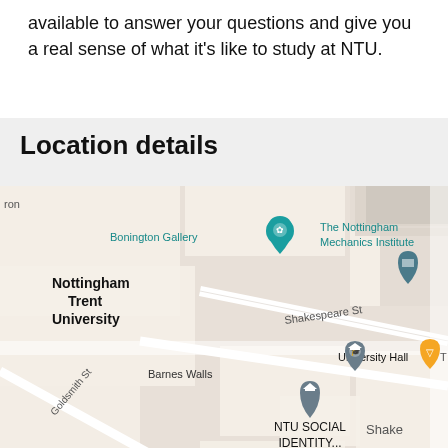available to answer your questions and give you a real sense of what it's like to study at NTU.
Location details
[Figure (map): Google Maps screenshot showing the area around Nottingham Trent University city campus, with labels for Bonington Gallery, The Nottingham Mechanics Institute, University Hall, NTU Social Identity..., NTU Admissions, Barnes Walls, Shakespeare St, Goldsmith St, and partial labels for Spencer Building and Park Nottingham Central. Map pins and icons shown in teal, grey, and orange colours.]